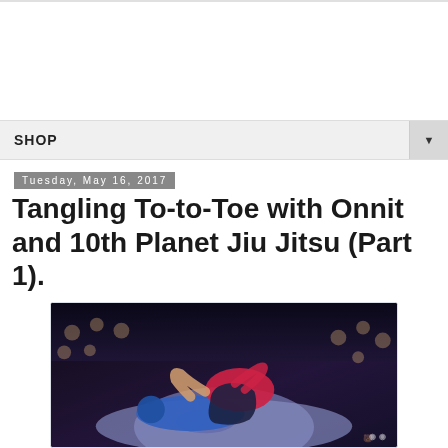SHOP
Tuesday, May 16, 2017
Tangling To-to-Toe with Onnit and 10th Planet Jiu Jitsu (Part 1).
[Figure (photo): Two fighters grappling on a mat under stage lighting. One fighter wearing blue, the other red, photographed at a Jiu Jitsu competition event with audience in background.]